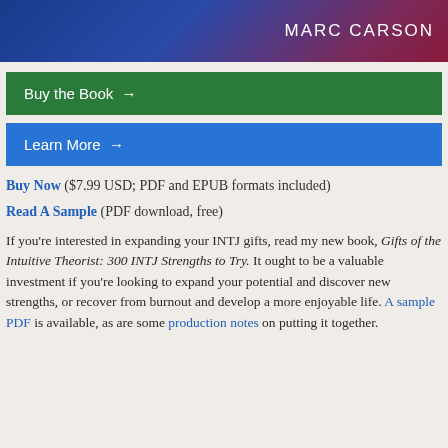[Figure (illustration): Header banner with dark blue/purple and red gradient background showing the author name MARC CARSON in white uppercase letters on the right side]
Buy the Book →
Learn More →
Buy Now ($7.99 USD; PDF and EPUB formats included)
Read A Sample (PDF download, free)
If you're interested in expanding your INTJ gifts, read my new book, Gifts of the Intuitive Theorist: 300 INTJ Strengths to Try. It ought to be a valuable investment if you're looking to expand your potential and discover new strengths, or recover from burnout and develop a more enjoyable life. A sample PDF is available, as are some production notes on putting it together.